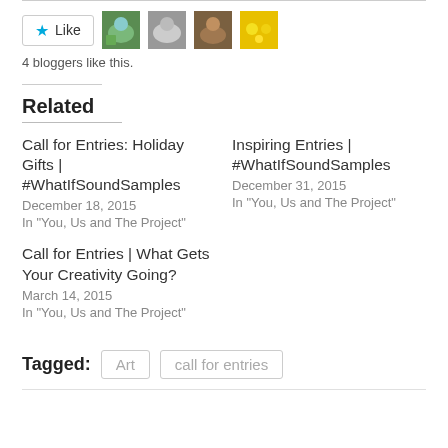[Figure (other): Like button with star icon and 4 blogger avatar photos]
4 bloggers like this.
Related
Call for Entries: Holiday Gifts | #WhatIfSoundSamples
December 18, 2015
In "You, Us and The Project"
Inspiring Entries | #WhatIfSoundSamples
December 31, 2015
In "You, Us and The Project"
Call for Entries | What Gets Your Creativity Going?
March 14, 2015
In "You, Us and The Project"
Tagged: Art  call for entries